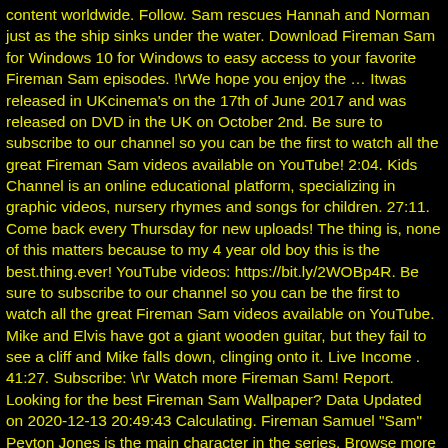content worldwide. Follow. Sam rescues Hannah and Norman just as the ship sinks under the water. Download Fireman Sam for Windows 10 for Windows to easy access to your favorite Fireman Sam episodes. !\rWe hope you enjoy the … Itwas released in UKcinema's on the 17th of June 2017 and was released on DVD in the UK on October 2nd. Be sure to subscribe to our channel so you can be the first to watch all the great Fireman Sam videos available on YouTube! 2:04. Kids Channel is an online educational platform, specializing in graphic videos, nursery rhymes and songs for children. 27:11. Come back every Thursday for new uploads! The thing is, none of this matters because to my 4 year old boy this is the best.thing.ever! YouTube videos: https://bit.ly/2WOBp4R. Be sure to subscribe to our channel so you can be the first to watch all the great Fireman Sam videos available on YouTube. Mike and Elvis have got a giant wooden guitar, but they fail to see a cliff and Mike falls down, clinging onto it. Live Income . 41:27. Subscribe: \r\r Watch more Fireman Sam! Report. Looking for the best Fireman Sam Wallpaper? Data Updated on 2020-12-13 20:49:43 Calculating. Fireman Samuel "Sam" Peyton Jones is the main character in the series. Browse more videos. 8 years ago | 9 views. Article by Meme Loverz Abc For Kids Kids Tv Fire Vs Water Summer Safety Tips Fireman Hat Gif Dance Birthday Songs Bonfire Night Animated Cartoons Subscribers Rank . Fireman Sam 2017 New Episodes | Paper plane down | 45 Minutes of Adventure Videos For